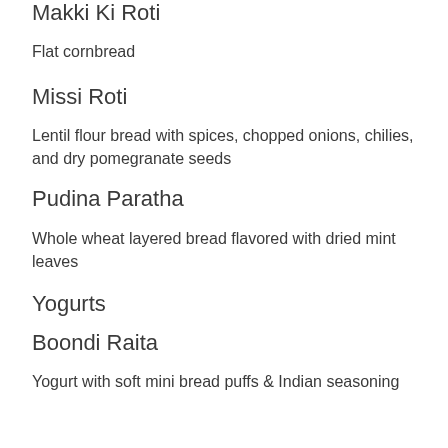Makki Ki Roti
Flat cornbread
Missi Roti
Lentil flour bread with spices, chopped onions, chilies, and dry pomegranate seeds
Pudina Paratha
Whole wheat layered bread flavored with dried mint leaves
Yogurts
Boondi Raita
Yogurt with soft mini bread puffs & Indian seasoning